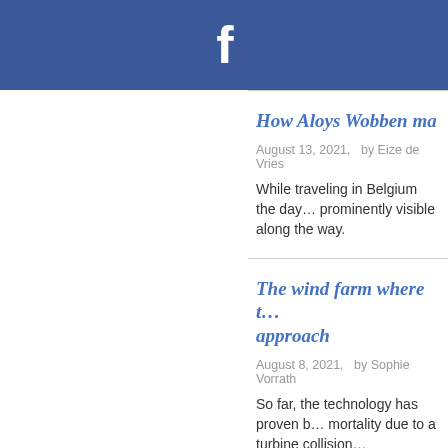[Figure (logo): Facebook header bar with white 'f' logo on blue (#3b5998) background]
How Aloys Wobben ma…
August 13, 2021,   by Eize de Vries
While traveling in Belgium the day… prominently visible along the way.
The wind farm where t… approach
August 8, 2021,   by Sophie Vorrath
So far, the technology has proven b… mortality due to a turbine collision…
Enercon founder Aloys…
August 4, 2021,   by Craig Richard
Enercon founder Aloys Wobben ha…